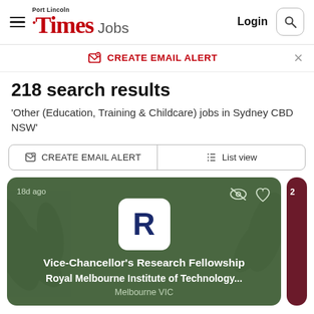Port Lincoln Times Jobs — Login
CREATE EMAIL ALERT
218 search results
'Other (Education, Training & Childcare) jobs in Sydney CBD NSW'
CREATE EMAIL ALERT  List view
[Figure (screenshot): Job listing card with dark green background showing 'Vice-Chancellor's Research Fellowship' at Royal Melbourne Institute of Technology, Melbourne VIC, posted 18d ago, with a white 'R' logo tile]
Vice-Chancellor's Research Fellowship
Royal Melbourne Institute of Technology...
Melbourne VIC